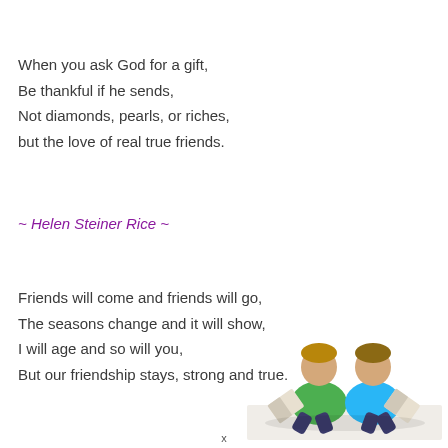When you ask God for a gift,
Be thankful if he sends,
Not diamonds, pearls, or riches,
but the love of real true friends.
~ Helen Steiner Rice ~
Friends will come and friends will go,
The seasons change and it will show,
I will age and so will you,
But our friendship stays, strong and true.
[Figure (photo): Two young boys sitting back-to-back on a white surface, one wearing a green shirt and one wearing a blue shirt, both reading books.]
x